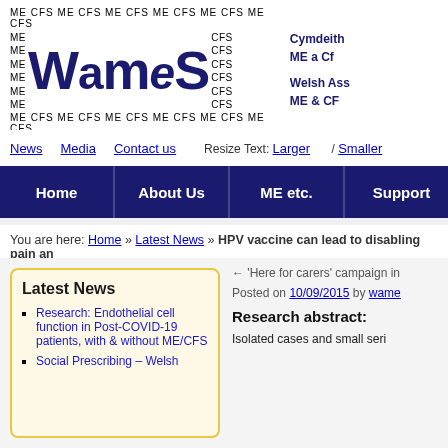[Figure (logo): WAMES logo with ME CFS text repeated around large WAMES letters in dark navy blue]
Cymdeith ME a CFS Welsh Ass ME & CF
News | Media | Contact us | Resize Text: Larger / Smaller
Home | About Us | ME etc. | Support | Young P
You are here: Home » Latest News » HPV vaccine can lead to disabling pain and
Latest News
Research: Endothelial cell function in Post-COVID-19 patients, with & without ME/CFS
Social Prescribing – Welsh
← 'Here for carers' campaign in
Posted on 10/09/2015 by wame
Research abstract:
Isolated cases and small seri